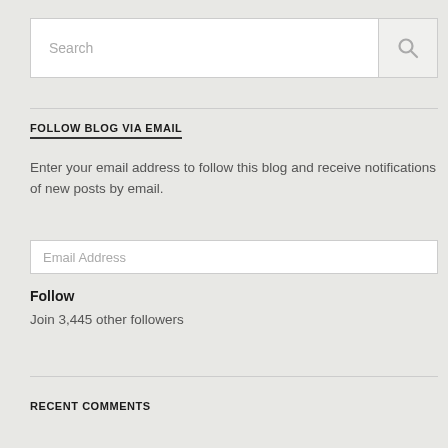[Figure (screenshot): Search bar with text input field showing 'Search' placeholder and a search icon button on the right]
FOLLOW BLOG VIA EMAIL
Enter your email address to follow this blog and receive notifications of new posts by email.
[Figure (screenshot): Email Address input field placeholder]
Follow
Join 3,445 other followers
RECENT COMMENTS